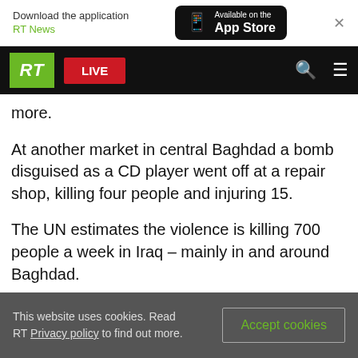[Figure (screenshot): App Store download banner with RT News logo and Available on the App Store button, plus close X]
[Figure (screenshot): RT News navigation bar with green RT logo, red LIVE button, search icon, and hamburger menu]
more.
At another market in central Baghdad a bomb disguised as a CD player went off at a repair shop, killing four people and injuring 15.
The UN estimates the violence is killing 700 people a week in Iraq – mainly in and around Baghdad.
In another development, the U.S. military in Iraq reported the deaths of six marines. They were
This website uses cookies. Read RT Privacy policy to find out more.